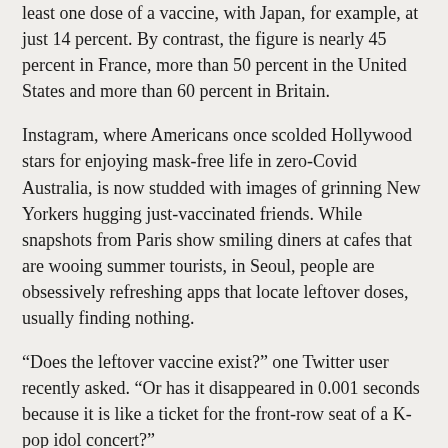least one dose of a vaccine, with Japan, for example, at just 14 percent. By contrast, the figure is nearly 45 percent in France, more than 50 percent in the United States and more than 60 percent in Britain.
Instagram, where Americans once scolded Hollywood stars for enjoying mask-free life in zero-Covid Australia, is now studded with images of grinning New Yorkers hugging just-vaccinated friends. While snapshots from Paris show smiling diners at cafes that are wooing summer tourists, in Seoul, people are obsessively refreshing apps that locate leftover doses, usually finding nothing.
“Does the leftover vaccine exist?” one Twitter user recently asked. “Or has it disappeared in 0.001 seconds because it is like a ticket for the front-row seat of a K-pop idol concert?”